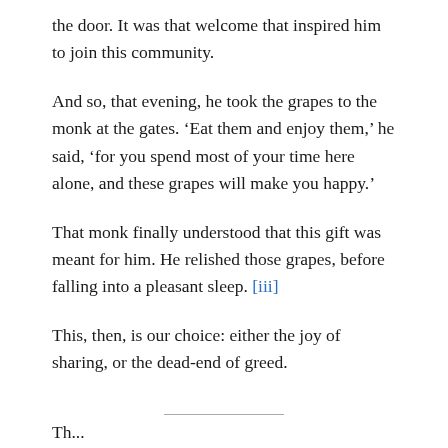the door. It was that welcome that inspired him to join this community.
And so, that evening, he took the grapes to the monk at the gates. ‘Eat them and enjoy them,’ he said, ‘for you spend most of your time here alone, and these grapes will make you happy.’
That monk finally understood that this gift was meant for him. He relished those grapes, before falling into a pleasant sleep. [iii]
This, then, is our choice: either the joy of sharing, or the dead-end of greed.
Th...